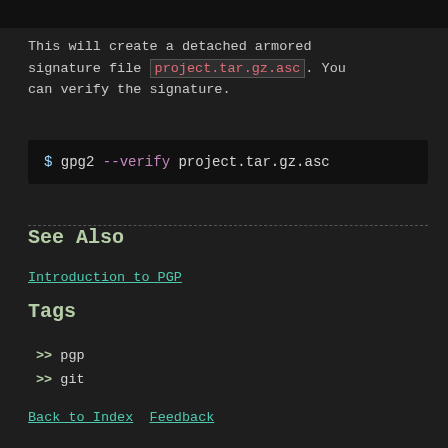[Figure (screenshot): Dark top bar / previous code block screenshot]
This will create a detached armored signature file project.tar.gz.asc. You can verify the signature.
$ gpg2 --verify project.tar.gz.asc
See Also
Introduction to PGP
Tags
>> pgp
>> git
Back to Index  Feedback